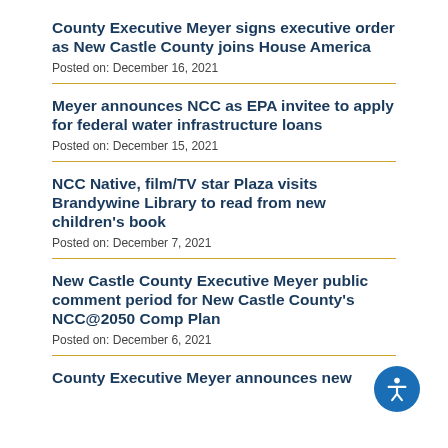County Executive Meyer signs executive order as New Castle County joins House America
Posted on: December 16, 2021
Meyer announces NCC as EPA invitee to apply for federal water infrastructure loans
Posted on: December 15, 2021
NCC Native, film/TV star Plaza visits Brandywine Library to read from new children's book
Posted on: December 7, 2021
New Castle County Executive Meyer public comment period for New Castle County's NCC@2050 Comp Plan
Posted on: December 6, 2021
County Executive Meyer announces new